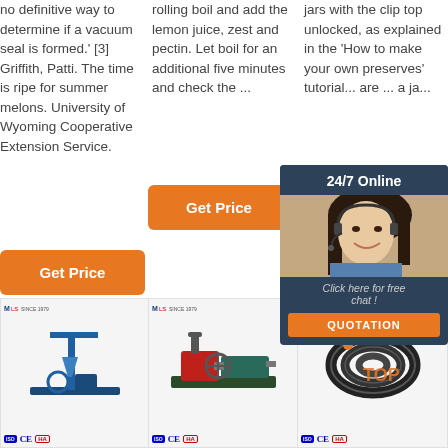no definitive way to determine if a vacuum seal is formed.' [3] Griffith, Patti. The time is ripe for summer melons. University of Wyoming Cooperative Extension Service.
[Figure (other): Orange 'Get Price' button - column 1]
rolling boil and add the lemon juice, zest and pectin. Let boil for an additional five minutes and check the ...
[Figure (other): Orange 'Get Price' button - column 2]
jars with the clip top unlocked, as explained in the 'How to make your own preserves' tutorial... are ... a ja...
[Figure (other): Orange 'Get Price' button - column 3 (partially obscured by chat widget)]
[Figure (other): 24/7 Online chat widget with woman in headset, 'Click here for free chat!' text and QUOTATION button]
[Figure (photo): Blue soil/extruder machine - product card 1 with logo, CE and HA certification badges]
[Figure (photo): Red diesel pump machine - product card 2 with logo, CE and HA certification badges]
[Figure (photo): Black rubber hose coil - product card 3 with logo, CE and HA certification badges and TOP logo]